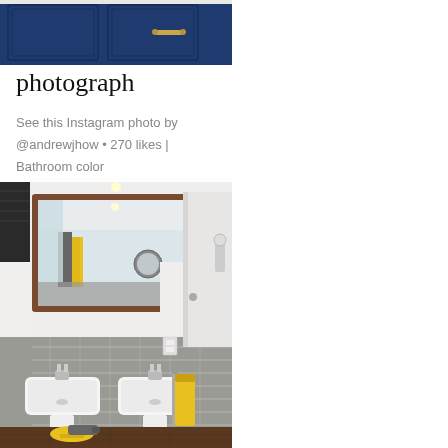[Figure (photo): Top portion of dark navy blue bathroom cabinetry with gold/brass hardware handle]
photograph
See this Instagram photo by @andrewjhow • 270 likes | Bathroom color
[Figure (photo): Bathroom interior with gray subway tile walls, pedestal sinks, large framed mirror with dark wood frame, yellow towels, and yellow stool. Hardwood floor visible at bottom.]